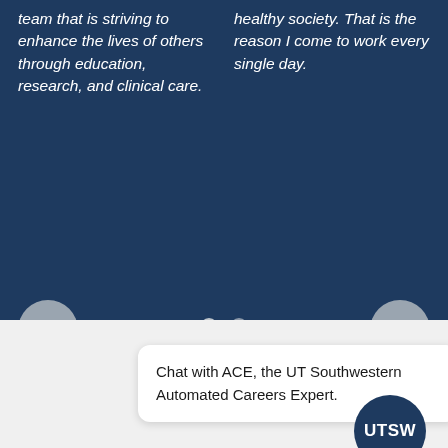team that is striving to enhance the lives of others through education, research, and clinical care.
healthy society. That is the reason I come to work every single day.
[Figure (other): Carousel navigation dots — one active (lighter) and one inactive (darker gray)]
[Figure (other): Left navigation arrow button (chevron pointing left) in gray circle]
[Figure (other): Right navigation arrow button (chevron pointing right) in gray circle]
Chat with ACE, the UT Southwestern Automated Careers Expert.
[Figure (logo): UTSW logo — white text on dark navy blue circular badge]